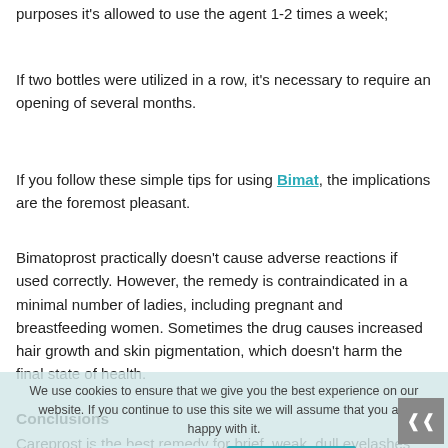purposes it's allowed to use the agent 1-2 times a week;
If two bottles were utilized in a row, it's necessary to require an opening of several months.
If you follow these simple tips for using Bimat, the implications are the foremost pleasant.
Bimatoprost practically doesn't cause adverse reactions if used correctly. However, the remedy is contraindicated in a minimal number of ladies, including pregnant and breastfeeding women. Sometimes the drug causes increased hair growth and skin pigmentation, which doesn't harm the final state of health.
Conclusions
Careprost is the best remedy for brief, weak, dull eyelashes and